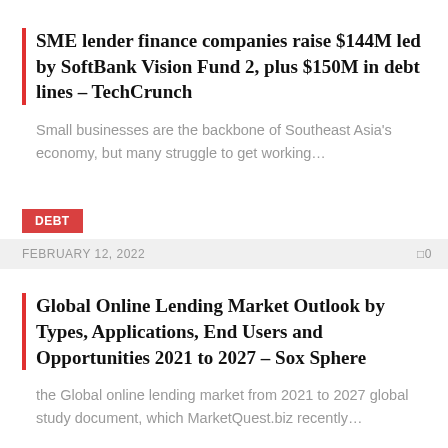SME lender finance companies raise $144M led by SoftBank Vision Fund 2, plus $150M in debt lines – TechCrunch
Small businesses are the backbone of Southeast Asia's economy, but many struggle to get working…
DEBT
FEBRUARY 12, 2022    0
Global Online Lending Market Outlook by Types, Applications, End Users and Opportunities 2021 to 2027 – Sox Sphere
the Global online lending market from 2021 to 2027 global study document, which MarketQuest.biz recently…
DEBT
[Figure (illustration): Partial circular graphic/logo, dark blue, partially visible at bottom of page]